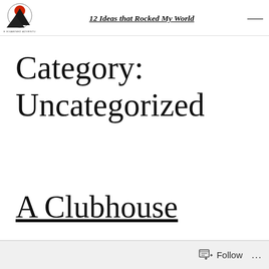12 Ideas that Rocked My World
Category: Uncategorized
A Clubhouse
Follow